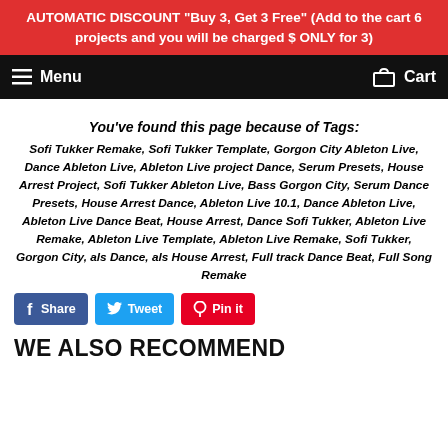AUTOMATIC DISCOUNT "Buy 3, Get 3 Free" (Add to the cart 6 projects and you will be charged $ ONLY for 3)
Menu   Cart
You've found this page because of Tags:
Sofi Tukker Remake, Sofi Tukker Template, Gorgon City Ableton Live, Dance Ableton Live, Ableton Live project Dance, Serum Presets, House Arrest Project, Sofi Tukker Ableton Live, Bass Gorgon City, Serum Dance Presets, House Arrest Dance, Ableton Live 10.1, Dance Ableton Live, Ableton Live Dance Beat, House Arrest, Dance Sofi Tukker, Ableton Live Remake, Ableton Live Template, Ableton Live Remake, Sofi Tukker, Gorgon City, als Dance, als House Arrest, Full track Dance Beat, Full Song Remake
Share  Tweet  Pin it
WE ALSO RECOMMEND